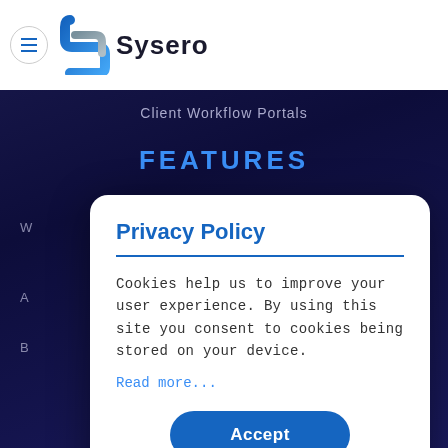Sysero
Client Workflow Portals
FEATURES
[Figure (screenshot): Sysero website background with dark navy blue gradient showing 'Client Workflow Portals' subtitle and 'FEATURES' heading with partial text content]
Privacy Policy
Cookies help us to improve your user experience. By using this site you consent to cookies being stored on your device.
Read more...
Accept